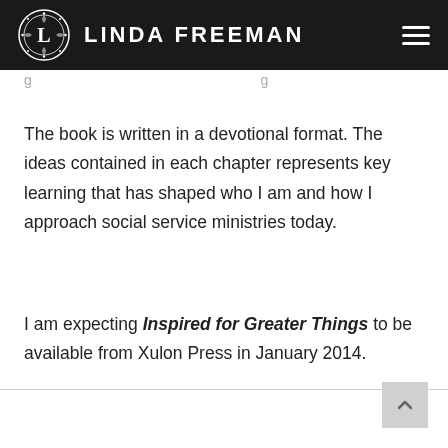LINDA FREEMAN
The book is written in a devotional format. The ideas contained in each chapter represents key learning that has shaped who I am and how I approach social service ministries today.
I am expecting Inspired for Greater Things to be available from Xulon Press in January 2014.